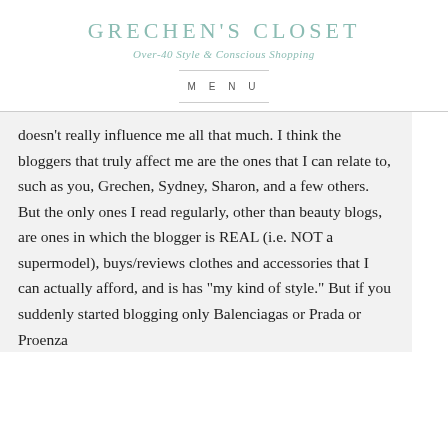GRECHEN'S CLOSET
Over-40 Style & Conscious Shopping
MENU
doesn't really influence me all that much. I think the bloggers that truly affect me are the ones that I can relate to, such as you, Grechen, Sydney, Sharon, and a few others. But the only ones I read regularly, other than beauty blogs, are ones in which the blogger is REAL (i.e. NOT a supermodel), buys/reviews clothes and accessories that I can actually afford, and is has "my kind of style." But if you suddenly started blogging only Balenciagas or Prada or Proenza